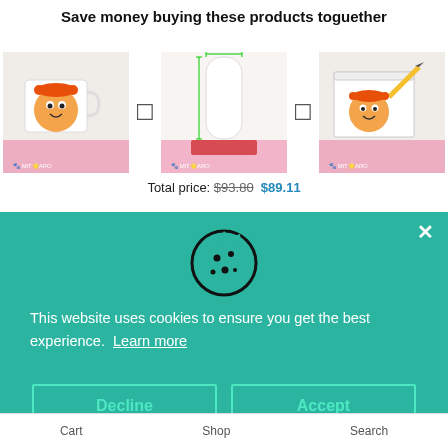Save money buying these products toguether
[Figure (photo): Three product images: anime character mug, body pillow, and notebook/sticker, with plus signs between them]
Total price: $93.80  $89.11
[Figure (illustration): Cookie consent overlay with cookie icon, text about website cookies, Decline and Accept buttons, and close X button]
This website uses cookies to ensure you get the best experience.  Learn more
Cart   Shop   Search